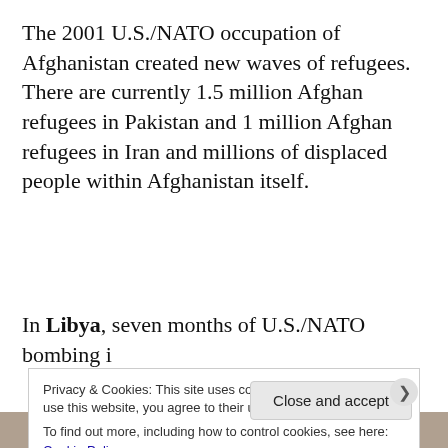The 2001 U.S./NATO occupation of Afghanistan created new waves of refugees. There are currently 1.5 million Afghan refugees in Pakistan and 1 million Afghan refugees in Iran and millions of displaced people within Afghanistan itself.
In Libya, seven months of U.S./NATO bombing i...
Privacy & Cookies: This site uses cookies. By continuing to use this website, you agree to their use.
To find out more, including how to control cookies, see here: Cookie Policy
Close and accept